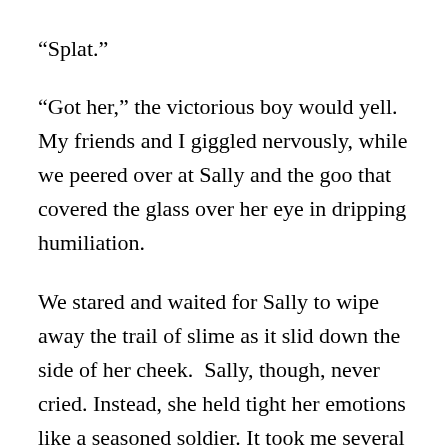“Splat.”
“Got her,” the victorious boy would yell. My friends and I giggled nervously, while we peered over at Sally and the goo that covered the glass over her eye in dripping humiliation.
We stared and waited for Sally to wipe away the trail of slime as it slid down the side of her cheek.  Sally, though, never cried. Instead, she held tight her emotions like a seasoned soldier. It took me several years, after I had myself become a victim of almost unbearable humiliation, for me to truly regret my part in Sally’s torment.  Only then did I seek her friendship, which although was never close, lasted until we graduated